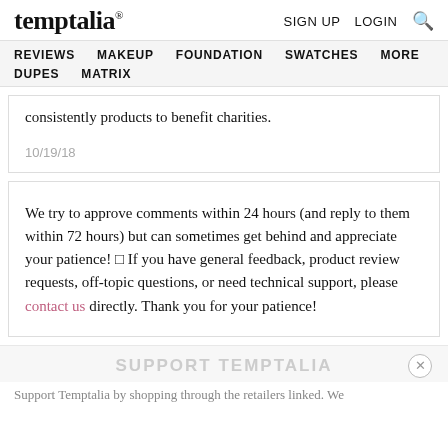temptalia® | SIGN UP  LOGIN  🔍
REVIEWS  MAKEUP  FOUNDATION  SWATCHES  MORE  DUPES  MATRIX
consistently products to benefit charities.
10/19/18
We try to approve comments within 24 hours (and reply to them within 72 hours) but can sometimes get behind and appreciate your patience! □ If you have general feedback, product review requests, off-topic questions, or need technical support, please contact us directly. Thank you for your patience!
SUPPORT TEMPTALIA
Support Temptalia by shopping through the retailers linked. We